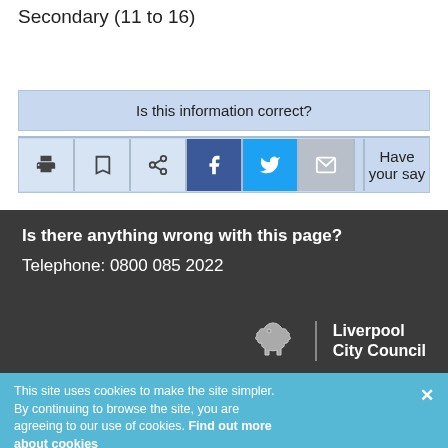Secondary (11 to 16)
Is this information correct?
[Figure (screenshot): Action bar with print, bookmark, share, Facebook, Twitter, email icons and 'Have your say' button]
Is there anything wrong with this page?
Telephone: 0800 085 2022
[Figure (logo): Liverpool City Council logo with bird emblem and text]
This site uses cookies to make the site simpler. By continuing to browse the site, you are agreeing to our use of cookies. Find out more about cookies